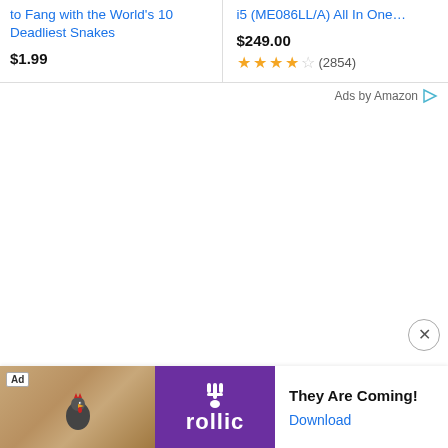to Fang with the World's 10 Deadliest Snakes
$1.99
i5 (ME086LL/A) All In One…
$249.00
★★★★☆ (2854)
Ads by Amazon
[Figure (screenshot): Bottom ad banner with Rollic game ad: 'They Are Coming!' with Download link. Left side shows wood texture background with a bird/chicken game icon and 'Ad' label. Purple Rollic logo section in center.]